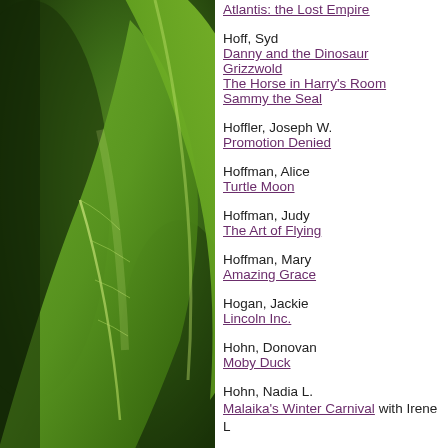[Figure (photo): Close-up photograph of large green leaves with visible veins, dark and blurred background, natural plant foliage.]
Atlantis: the Lost Empire
Hoff, Syd
Danny and the Dinosaur
Grizzwold
The Horse in Harry's Room
Sammy the Seal
Hoffler, Joseph W.
Promotion Denied
Hoffman, Alice
Turtle Moon
Hoffman, Judy
The Art of Flying
Hoffman, Mary
Amazing Grace
Hogan, Jackie
Lincoln Inc.
Hohn, Donovan
Moby Duck
Hohn, Nadia L.
Malaika's Winter Carnival with Irene L